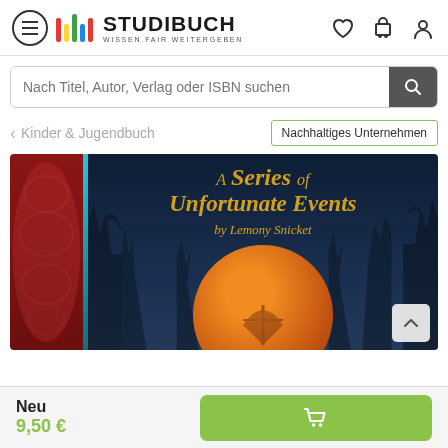STUDIBUCH — WISSEN FAIR WEITERGEBEN
Nach Titel, Autor, Verlag oder ISBN suchen
Kinder & Jugendbuch
Nachhaltiges Unternehmen
[Figure (photo): Book cover of 'A Series of Unfortunate Events' by Lemony Snicket, showing gold italic title text on a dark navy background with bare tree silhouettes, a red decorative left panel, and an orange circular illustration at the bottom]
Neu 9,50 €